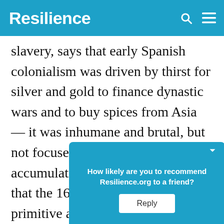Resilience
slavery, says that early Spanish colonialism was driven by thirst for silver and gold to finance dynastic wars and to buy spices from Asia — it was inhumane and brutal, but not focused on capital accumulation. Henry Heller argues that the 16th century was a time of primitive accumulation, the beginning of a long transitio… capita… ith the indust… ues
How likely are you to recommend Resilience.org to a friend? Reply